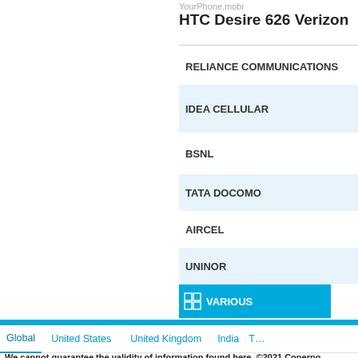YourPhone.mobi
HTC Desire 626 Verizon
RELIANCE COMMUNICATIONS
IDEA CELLULAR
BSNL
TATA DOCOMO
AIRCEL
UNINOR
VARIOUS
Global  United States  United Kingdom  India  T...
We cannot guarantee the validity of information found here. ©2021 Coperno